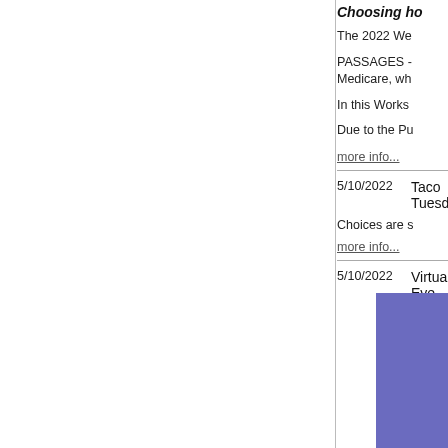Choosing ho
The 2022 We
PASSAGES - Medicare, wh
In this Works
Due to the Pu
more info...
5/10/2022   Taco Tuesd
Choices are s more info...
5/10/2022   Virtual Eve
[Figure (other): Purple/indigo colored rectangular box in bottom right corner]